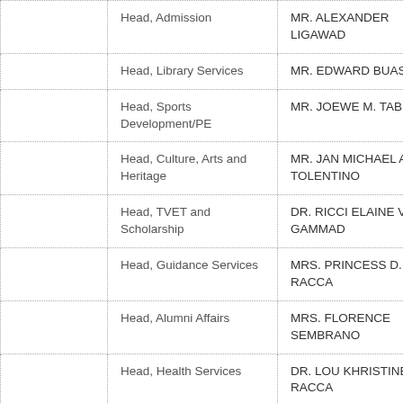|  | Role | Name |  |
| --- | --- | --- | --- |
|  | Head, Admission | MR. ALEXANDER LIGAWAD |  |
|  | Head, Library Services | MR. EDWARD BUASEN |  |
|  | Head, Sports Development/PE | MR. JOEWE M. TABLADA |  |
|  | Head, Culture, Arts and Heritage | MR. JAN MICHAEL A. TOLENTINO |  |
|  | Head, TVET and Scholarship | DR. RICCI ELAINE V. GAMMAD |  |
|  | Head, Guidance Services | MRS. PRINCESS D. RACCA |  |
|  | Head, Alumni Affairs | MRS. FLORENCE SEMBRANO |  |
|  | Head, Health Services | DR. LOU KHRISTINE D. RACCA |  |